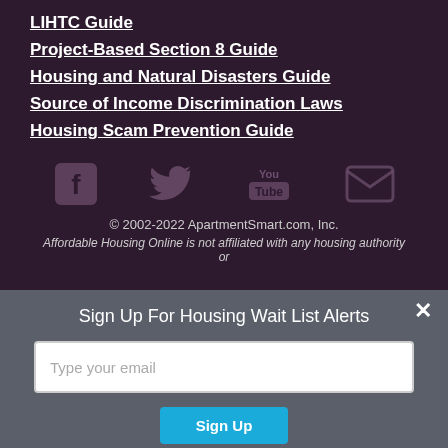LIHTC Guide
Project-Based Section 8 Guide
Housing and Natural Disasters Guide
Source of Income Discrimination Laws
Housing Scam Prevention Guide
[Figure (infographic): Social media icons row: Facebook, Twitter, YouTube, Email/envelope icons in muted purple color]
© 2002-2022 ApartmentSmart.com, Inc.
Affordable Housing Online is not affiliated with any housing authority or
Sign Up For Housing Wait List Alerts
Type your email
Sign Up